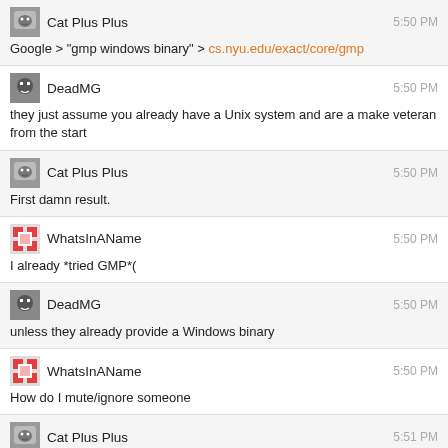Cat Plus Plus 5:50 PM
Google > "gmp windows binary" > cs.nyu.edu/exact/core/gmp
DeadMG 5:50 PM
they just assume you already have a Unix system and are a make veteran from the start
Cat Plus Plus 5:50 PM
First damn result.
WhatsInAName 5:50 PM
I already *tried GMP*(
DeadMG 5:50 PM
unless they already provide a Windows binary
WhatsInAName 5:50 PM
How do I mute/ignore someone
Cat Plus Plus 5:51 PM
Lol.
DeadMG 5:51 PM
@WhatsInAName Those links are prebuilt
Xaade 5:51 PM
Smarter? Or dumber? Apparently, I can't tell which way I need to go.